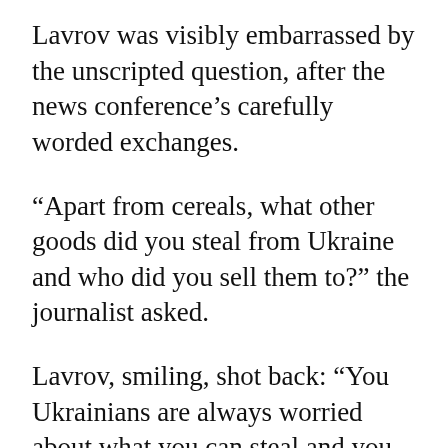Lavrov was visibly embarrassed by the unscripted question, after the news conference’s carefully worded exchanges.
“Apart from cereals, what other goods did you steal from Ukraine and who did you sell them to?” the journalist asked.
Lavrov, smiling, shot back: “You Ukrainians are always worried about what you can steal and you think everyone thinks that way!
“Our goals there are clear, we want to save people from the pressure of the neo-Nazi regime. “We are not obstructing the grain. In order for it to leave the ports, Mr (Ukrainian